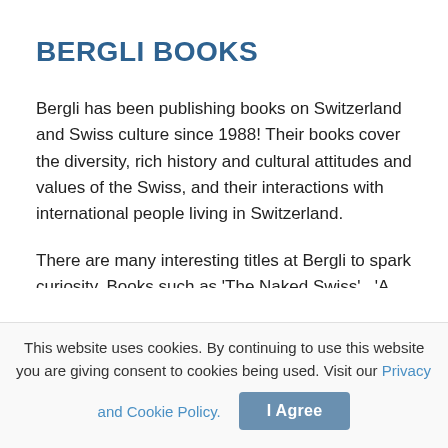BERGLI BOOKS
Bergli has been publishing books on Switzerland and Swiss culture since 1988! Their books cover the diversity, rich history and cultural attitudes and values of the Swiss, and their interactions with international people living in Switzerland.
There are many interesting titles at Bergli to spark curiosity. Books such as ‘The Naked Swiss’,  ‘A nation behind 10 myths’, or ‘Swisstory’, about the untold, bloody history of Switzerland.
This website uses cookies. By continuing to use this website you are giving consent to cookies being used. Visit our Privacy and Cookie Policy. | I Agree